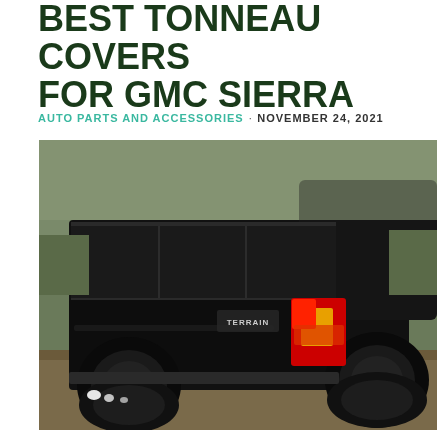BEST TONNEAU COVERS FOR GMC SIERRA
AUTO PARTS AND ACCESSORIES · NOVEMBER 24, 2021
[Figure (photo): A black GMC Sierra pickup truck photographed from the rear quarter angle, showing a black folding/tri-fold tonneau cover on the bed. The truck's red and amber tail lights are illuminated. The truck is parked on a dirt/gravel surface with trees in the background.]